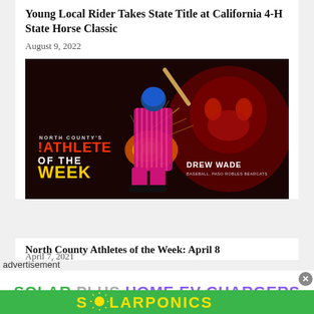Young Local Rider Takes State Title at California 4-H State Horse Classic
August 9, 2022
[Figure (photo): Athlete of the Week promotional image featuring Drew Wade, baseball player for Paso Robles Bearcats, swinging a bat with dramatic fire and spark effects. Text reads 'North County's Athlete of the Week' and 'Drew Wade Baseball, Paso Robles Bearcats' on a dark red background with a wildcat graphic.]
North County Athletes of the Week: April 8
advertisement
April 7, 2021
[Figure (infographic): Advertisement banner: 'SOLAR PLUS HOME EV CHARGERS' in large bold text with green 'SOLAR', gray 'PLUS', and purple 'HOME EV CHARGERS'. A close/X button appears in the top right corner.]
[Figure (logo): Solarponics logo on green background with yellow text 'SOLARPONICS' and a sun burst icon replacing the 'O'.]